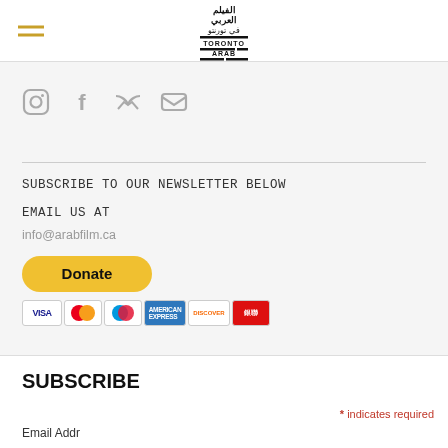Toronto Arab Film (logo with Arabic text)
[Figure (logo): Toronto Arab Film logo with Arabic text above and stylized TORONTO ARAB FILM text below]
[Figure (infographic): Social media icons: Instagram, Facebook, Twitter, Email]
SUBSCRIBE TO OUR NEWSLETTER BELOW
EMAIL US AT
info@arabfilm.ca
[Figure (other): PayPal Donate button (yellow rounded) with payment card icons below: Visa, Mastercard, Maestro, American Express, Discover, UnionPay]
SUBSCRIBE
* indicates required